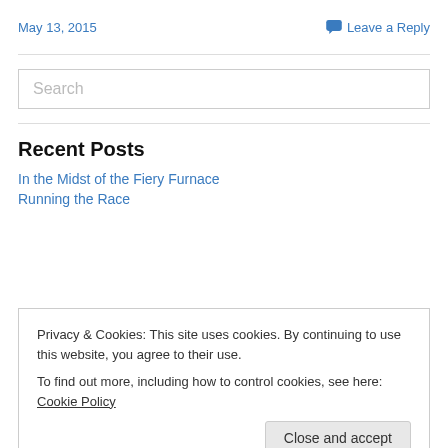May 13, 2015
Leave a Reply
Search
Recent Posts
In the Midst of the Fiery Furnace
Running the Race
Privacy & Cookies: This site uses cookies. By continuing to use this website, you agree to their use.
To find out more, including how to control cookies, see here: Cookie Policy
Close and accept
Archives